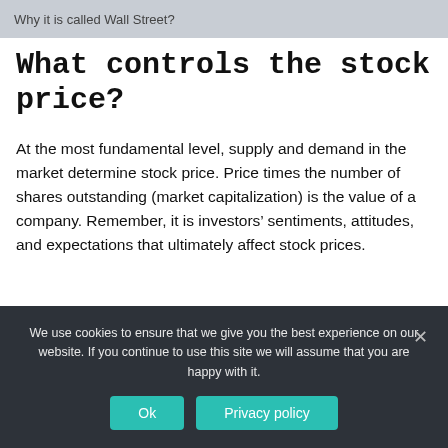Why it is called Wall Street?
What controls the stock price?
At the most fundamental level, supply and demand in the market determine stock price. Price times the number of shares outstanding (market capitalization) is the value of a company. Remember, it is investors’ sentiments, attitudes, and expectations that ultimately affect stock prices.
We use cookies to ensure that we give you the best experience on our website. If you continue to use this site we will assume that you are happy with it.